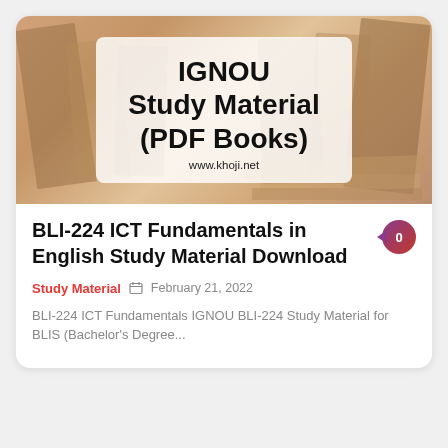[Figure (illustration): Banner image with blurred books in background and white semi-transparent overlay box containing the text 'IGNOU Study Material (PDF Books)' and 'www.khoji.net']
BLI-224 ICT Fundamentals in English Study Material Download
Study Material   February 21, 2022
BLI-224 ICT Fundamentals IGNOU BLI-224 Study Material for BLIS (Bachelor's Degree...